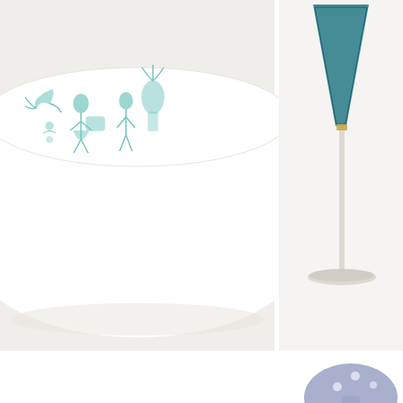[Figure (photo): Two product photos side by side: left shows a white Pyrex mixing bowl with teal blue folk art pattern (people, animals, plants), right shows a martini glass with teal/dark blue colored bowl and clear stem on a white background.]
[Figure (logo): ModCloth logo in muted slate-blue/periwinkle color with mushroom illustrations to the right of the text.]
Now the giveaway!  To enter to win a $100 gift card to ModCloth, this vintage 4.5 qt mixing bowl, and this gorgeous martini glass follow the directions on the widget below! Plus, ModCloth is now offering $20 off every order of $100, which means you can get more fabulous frocks for less. Good luck!